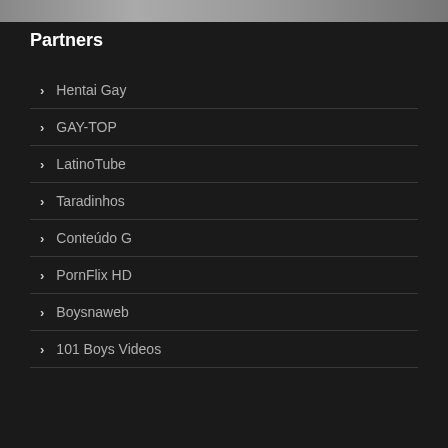[Figure (photo): Partial image strip at the top of the page showing a dark/grainy photo]
Partners
Hentai Gay
GAY-TOP
LatinoTube
Taradinhos
Conteúdo G
PornFlix HD
Boysnaweb
101 Boys Videos